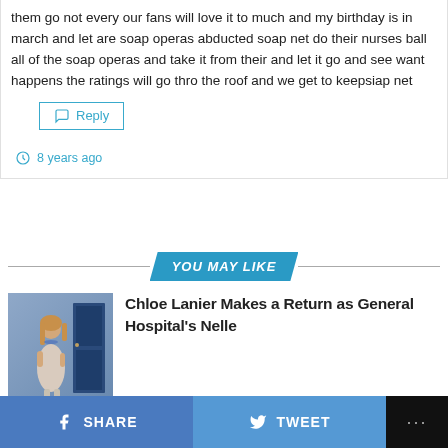them go not every our fans will love it to much and my birthday is in march and let are soap operas abducted soap net do their nurses ball all of the soap operas and take it from their and let it go and see want happens the ratings will go thro the roof and we get to keepsiap net
Reply
8 years ago
YOU MAY LIKE
[Figure (photo): Photo of a woman in a light-colored outfit standing in front of a blue door]
Chloe Lanier Makes a Return as General Hospital's Nelle
SHARE
TWEET
...